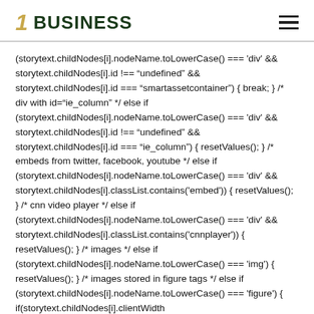1 BUSINESS
(storytext.childNodes[i].nodeName.toLowerCase() === 'div' && storytext.childNodes[i].id !== "undefined" && storytext.childNodes[i].id === "smartassetcontainer") { break; } /* div with id="ie_column" */ else if (storytext.childNodes[i].nodeName.toLowerCase() === 'div' && storytext.childNodes[i].id !== "undefined" && storytext.childNodes[i].id === "ie_column") { resetValues(); } /* embeds from twitter, facebook, youtube */ else if (storytext.childNodes[i].nodeName.toLowerCase() === 'div' && storytext.childNodes[i].classList.contains('embed')) { resetValues(); } /* cnn video player */ else if (storytext.childNodes[i].nodeName.toLowerCase() === 'div' && storytext.childNodes[i].classList.contains('cnnplayer')) { resetValues(); } /* images */ else if (storytext.childNodes[i].nodeName.toLowerCase() === 'img') { resetValues(); } /* images stored in figure tags */ else if (storytext.childNodes[i].nodeName.toLowerCase() === 'figure') { if(storytext.childNodes[i].clientWidth
Previously, Treasury had predicted the X date could occur sometime in October or November.